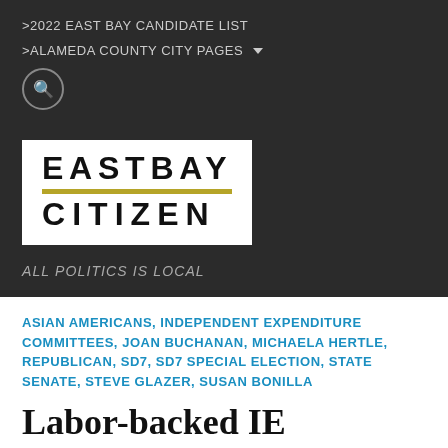>2022 EAST BAY CANDIDATE LIST
>ALAMEDA COUNTY CITY PAGES
[Figure (logo): East Bay Citizen logo: white box with EASTBAY in bold black letters, a gold/olive horizontal bar, and CITIZEN in bold black letters below]
ALL POLITICS IS LOCAL
ASIAN AMERICANS, INDEPENDENT EXPENDITURE COMMITTEES, JOAN BUCHANAN, MICHAELA HERTLE, REPUBLICAN, SD7, SD7 SPECIAL ELECTION, STATE SENATE, STEVE GLAZER, SUSAN BONILLA
Labor-backed IE spending